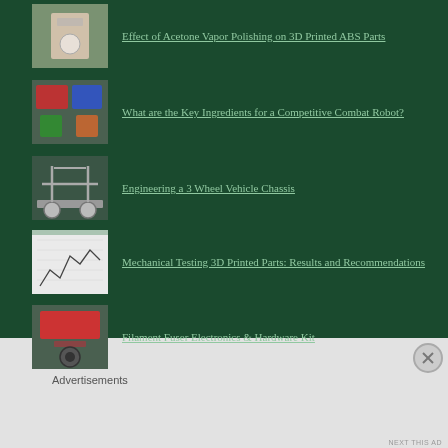Effect of Acetone Vapor Polishing on 3D Printed ABS Parts
What are the Key Ingredients for a Competitive Combat Robot?
Engineering a 3 Wheel Vehicle Chassis
Mechanical Testing 3D Printed Parts: Results and Recommendations
Filament Fuser Electronics & Hardware Kit
Why does plastic turn white under stress?
Advertisements
NEXT THIS AD